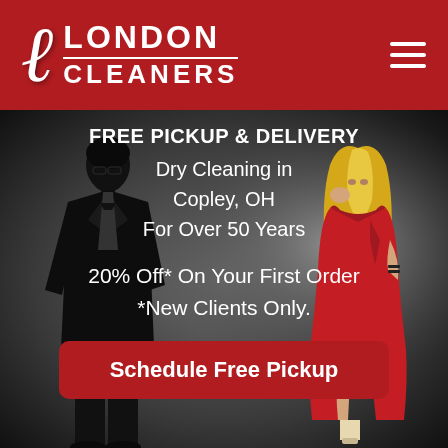London Cleaners
[Figure (photo): Hero banner image with dark background showing silhouettes of a man in a suit on the left and a woman in a red dress on the right, with promotional text overlay and a CTA button]
FREE PICKUP & DELIVERY
Dry Cleaning in
Copley, OH
For Over 50 Years

20% Off* On Your First Order
*New Clients Only.
Schedule Free Pickup